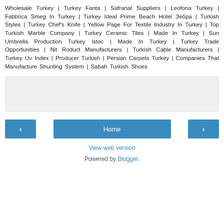Wholesale Turkey | Turkey Fanta | Safranal Suppliers | Leofona Turkey | Fabbrica Smeg In Turkey | Turkey Ideal Prime Beach Hotel Зебра | Turkish Styles | Turkey Chef's Knife | Yellow Page For Textile Industry In Turkey | Top Turkish Marble Company | Turkey Ceramic Tiles | Made In Turkey | Sun Umbrella Production Turkey Istoc | Made In Turkey | Turkey Trade Opportunities | Nit Roduct Manufacturers | Turkish Cable Manufacturers | Turkey Uv Index | Producer Turkish | Persian Carpets Turkey | Companies That Manufacture Shunting System | Sabah Turkish Shoes
[Figure (other): Gray advertisement/placeholder box]
‹   Home   ›
View web version
Powered by Blogger.